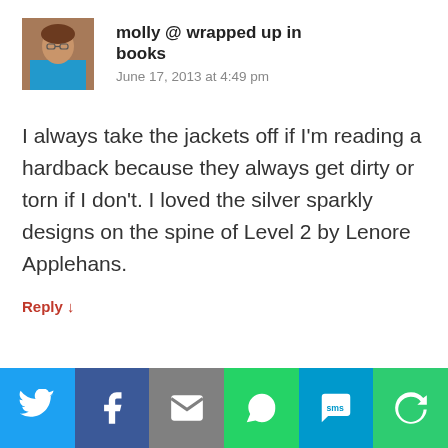[Figure (photo): Small square avatar photo of a woman wearing a blue top, with brownish background]
molly @ wrapped up in books
June 17, 2013 at 4:49 pm
I always take the jackets off if I'm reading a hardback because they always get dirty or torn if I don't. I loved the silver sparkly designs on the spine of Level 2 by Lenore Applehans.
Reply ↓
[Figure (infographic): Social sharing bar with six buttons: Twitter (blue bird), Facebook (blue f), Email (grey envelope), WhatsApp (green phone), SMS (blue sms bubble), Other (green circular arrow)]